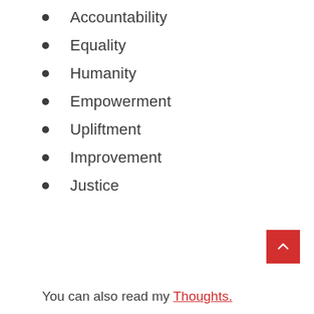Accountability
Equality
Humanity
Empowerment
Upliftment
Improvement
Justice
You can also read my Thoughts.